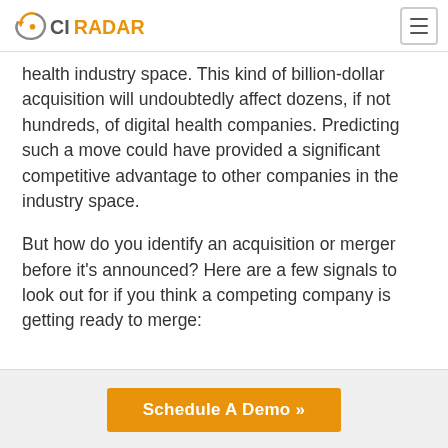CIRADAR
health industry space. This kind of billion-dollar acquisition will undoubtedly affect dozens, if not hundreds, of digital health companies. Predicting such a move could have provided a significant competitive advantage to other companies in the industry space.
But how do you identify an acquisition or merger before it's announced? Here are a few signals to look out for if you think a competing company is getting ready to merge:
Schedule A Demo »